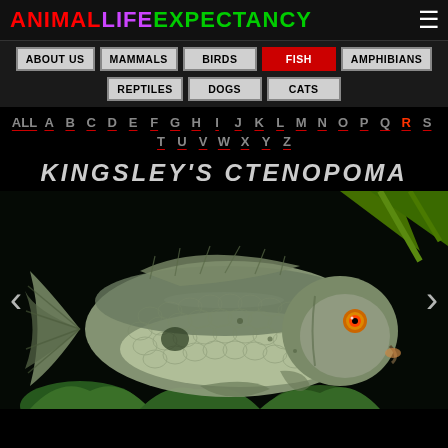ANIMALLIFEEXPECTANCY
ABOUT US | MAMMALS | BIRDS | FISH | AMPHIBIANS
REPTILES | DOGS | CATS
ALL A B C D E F G H I J K L M N O P Q R S T U V W X Y Z
KINGSLEY'S CTENOPOMA
[Figure (photo): Photo of a Kingsley's Ctenopoma fish (a large scaled fish with reddish eye) on a dark background with aquatic plants]